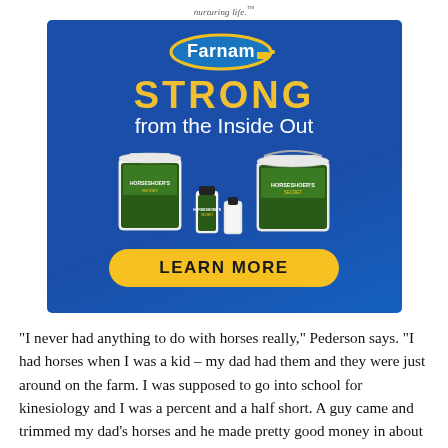nurturing life.
[Figure (illustration): Farnam brand advertisement with blue background. Shows 'Farnam' logo in blue oval with yellow border, text 'STRONG from the Inside Out' in yellow and white, product images of Horseshoer's Secret supplements in various sizes (bucket, tube, bottle), and a yellow 'LEARN MORE' button.]
"I never had anything to do with horses really," Pederson says. "I had horses when I was a kid – my dad had them and they were just around on the farm. I was supposed to go into school for kinesiology and I was a percent and a half short. A guy came and trimmed my dad's horses and he made pretty good money in about half an hour. I thought, let's try it."
She applied to Olds College online and remembers having an